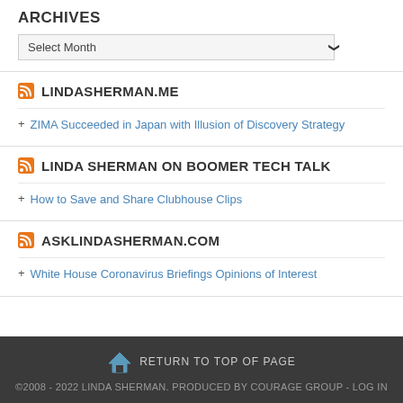ARCHIVES
Select Month
LINDASHERMAN.ME
ZIMA Succeeded in Japan with Illusion of Discovery Strategy
LINDA SHERMAN ON BOOMER TECH TALK
How to Save and Share Clubhouse Clips
ASKLINDASHERMAN.COM
White House Coronavirus Briefings Opinions of Interest
RETURN TO TOP OF PAGE
©2008 - 2022 LINDA SHERMAN. PRODUCED BY COURAGE GROUP - LOG IN